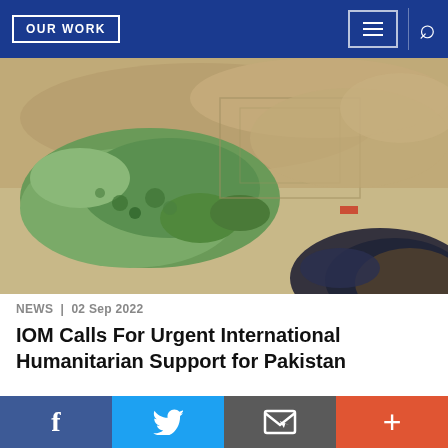OUR WORK
[Figure (photo): Aerial photograph of flooded farmland in Pakistan, showing brown floodwater surrounding patches of green vegetation and fields, taken from a helicopter or aircraft window.]
NEWS | 02 Sep 2022
IOM Calls For Urgent International Humanitarian Support for Pakistan
[Figure (photo): Partial view of another news article image at the bottom of the page.]
Facebook | Twitter | Email | More